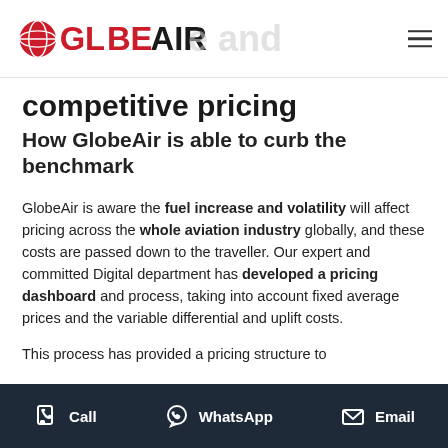GlobeAir
competitive pricing
How GlobeAir is able to curb the benchmark
GlobeAir is aware the fuel increase and volatility will affect pricing across the whole aviation industry globally, and these costs are passed down to the traveller. Our expert and committed Digital department has developed a pricing dashboard and process, taking into account fixed average prices and the variable differential and uplift costs.
This process has provided a pricing structure to
Call   WhatsApp   Email